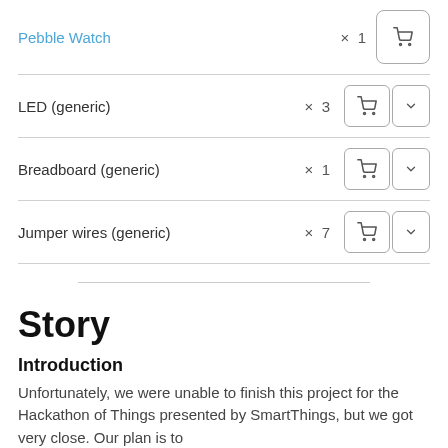Pebble Watch × 1
LED (generic) × 3
Breadboard (generic) × 1
Jumper wires (generic) × 7
Story
Introduction
Unfortunately, we were unable to finish this project for the Hackathon of Things presented by SmartThings, but we got very close. Our plan is to